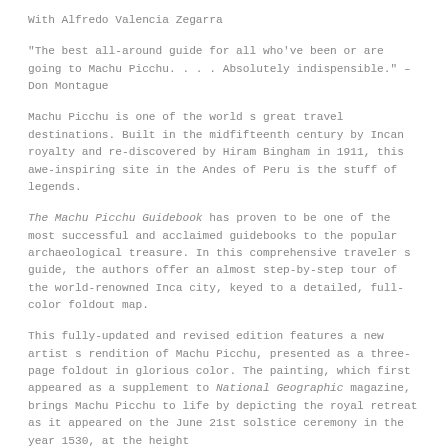With Alfredo Valencia Zegarra
"The best all-around guide for all who've been or are going to Machu Picchu. . . . Absolutely indispensible." – Don Montague
Machu Picchu is one of the world s great travel destinations. Built in the midfifteenth century by Incan royalty and re-discovered by Hiram Bingham in 1911, this awe-inspiring site in the Andes of Peru is the stuff of legends.
The Machu Picchu Guidebook has proven to be one of the most successful and acclaimed guidebooks to the popular archaeological treasure. In this comprehensive traveler s guide, the authors offer an almost step-by-step tour of the world-renowned Inca city, keyed to a detailed, full-color foldout map.
This fully-updated and revised edition features a new artist s rendition of Machu Picchu, presented as a three-page foldout in glorious color. The painting, which first appeared as a supplement to National Geographic magazine, brings Machu Picchu to life by depicting the royal retreat as it appeared on the June 21st solstice ceremony in the year 1530, at the height